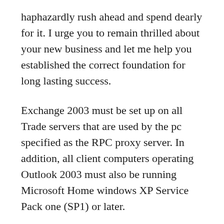haphazardly rush ahead and spend dearly for it. I urge you to remain thrilled about your new business and let me help you established the correct foundation for long lasting success.
Exchange 2003 must be set up on all Trade servers that are used by the pc specified as the RPC proxy server. In addition, all client computers operating Outlook 2003 must also be running Microsoft Home windows XP Service Pack one (SP1) or later.
vpn gratuit belgique – Is a network connection that allows accessibility to your network attached devices such as file servers and e-mail servers. Established up is normally handled by